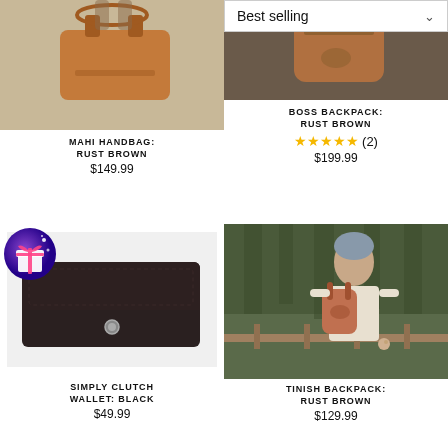[Figure (screenshot): E-commerce product grid showing four leather bags/wallets with a Best selling dropdown filter]
MAHI HANDBAG: RUST BROWN
$149.99
BOSS BACKPACK: RUST BROWN
★★★★★ (2)
$199.99
SIMPLY CLUTCH WALLET: BLACK
$49.99
TINISH BACKPACK: RUST BROWN
$129.99